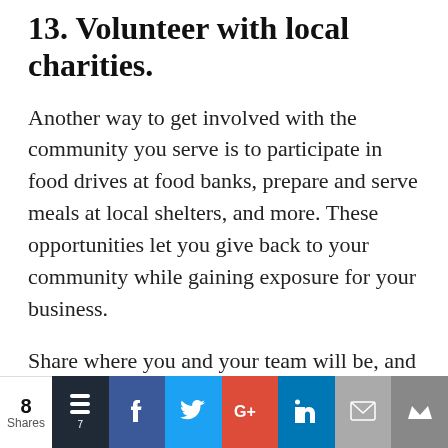13. Volunteer with local charities.
Another way to get involved with the community you serve is to participate in food drives at food banks, prepare and serve meals at local shelters, and more. These opportunities let you give back to your community while gaining exposure for your business.
Share where you and your team will be, and invite social media followers or
8 Shares | Buffer 7 | Facebook | Twitter | Google+ | LinkedIn | Email | Crown